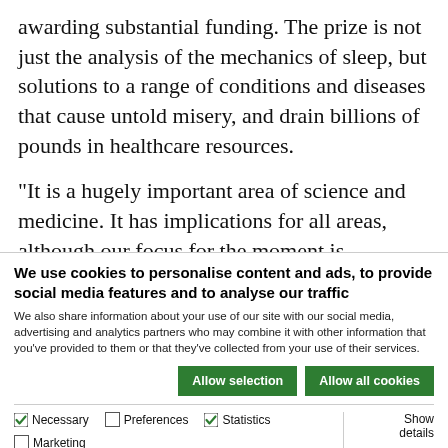awarding substantial funding. The prize is not just the analysis of the mechanics of sleep, but solutions to a range of conditions and diseases that cause untold misery, and drain billions of pounds in healthcare resources.
“It is a hugely important area of science and medicine. It has implications for all areas, although our focus for the moment is psychiatric disorders,"
We use cookies to personalise content and ads, to provide social media features and to analyse our traffic
We also share information about your use of our site with our social media, advertising and analytics partners who may combine it with other information that you’ve provided to them or that they’ve collected from your use of their services.